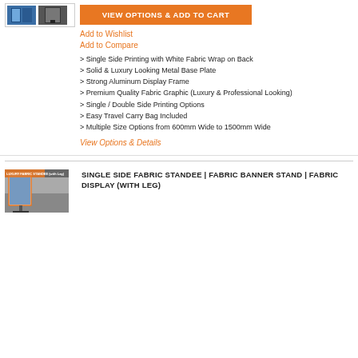[Figure (photo): Two product thumbnail images of fabric banner stands side by side]
VIEW OPTIONS & ADD TO CART
Add to Wishlist
Add to Compare
> Single Side Printing with White Fabric Wrap on Back
> Solid & Luxury Looking Metal Base Plate
> Strong Aluminum Display Frame
> Premium Quality Fabric Graphic (Luxury & Professional Looking)
> Single / Double Side Printing Options
> Easy Travel Carry Bag Included
> Multiple Size Options from 600mm Wide to 1500mm Wide
View Options & Details
[Figure (photo): Product image of Single Side Fabric Standee with Leg in exhibition hall setting, labeled LUXURY FABRIC STANDEE (with Leg)]
SINGLE SIDE FABRIC STANDEE | FABRIC BANNER STAND | FABRIC DISPLAY (WITH LEG)